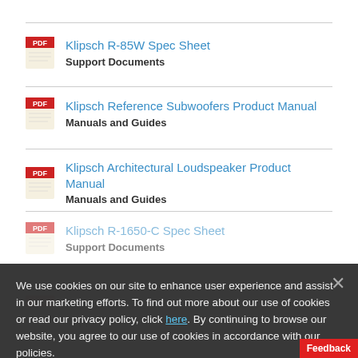Klipsch R-85W Spec Sheet
Support Documents
Klipsch Reference Subwoofers Product Manual
Manuals and Guides
Klipsch Architectural Loudspeaker Product Manual
Manuals and Guides
Klipsch R-1650-C Spec Sheet
Support Documents
Klipsch R-1650-W Spec Sheet
Support Documents
We use cookies on our site to enhance user experience and assist in our marketing efforts. To find out more about our use of cookies or read our privacy policy, click here. By continuing to browse our website, you agree to our use of cookies in accordance with our policies.
Cookies Settings
Accept and Close
Feedback